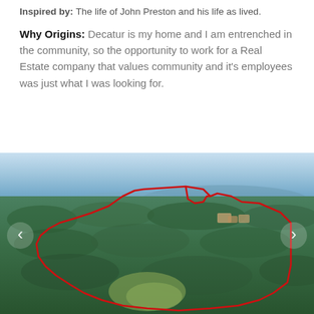Inspired by: The life of John Preston and his life as lived.
Why Origins: Decatur is my home and I am entrenched in the community, so the opportunity to work for a Real Estate company that values community and it's employees was just what I was looking for.
[Figure (photo): Aerial photograph of a forested suburban landscape with a large property boundary outlined in red. Blue sky and distant hills visible at top. Navigation arrows on left and right sides of the image.]